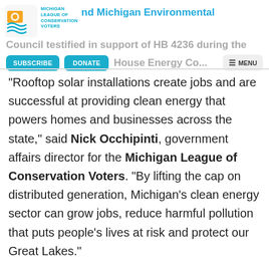Michigan League of Conservation Voters and Michigan Environmental Council testified in support of HB 4236 during the House Energy Committee hearing.
“Rooftop solar installations create jobs and are successful at providing clean energy that powers homes and businesses across the state,” said Nick Occhipinti, government affairs director for the Michigan League of Conservation Voters. “By lifting the cap on distributed generation, Michigan’s clean energy sector can grow jobs, reduce harmful pollution that puts people’s lives at risk and protect our Great Lakes.”